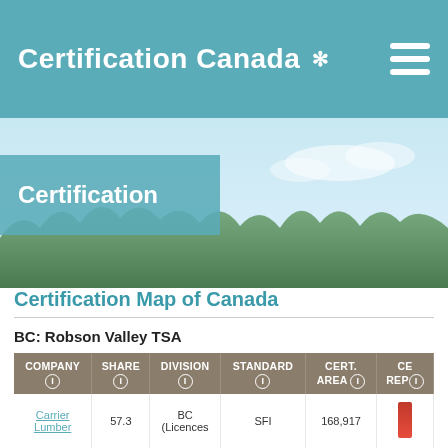Certification Canada
Certification
Certification Map of Canada
BC: Robson Valley TSA
| COMPANY | SHARE | DIVISION | STANDARD | CERT. AREA | CE... REP... |
| --- | --- | --- | --- | --- | --- |
| Carrier Lumber | 57.3 | BC (Licences | SFI | 168,917 |  |